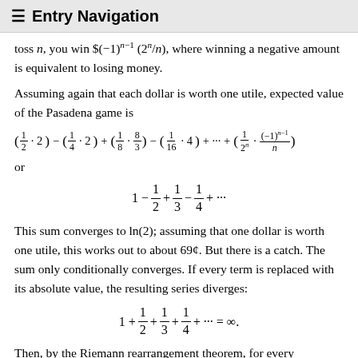≡ Entry Navigation
toss n, you win $(-1)^(n-1) (2^n/n), where winning a negative amount is equivalent to losing money.
Assuming again that each dollar is worth one utile, expected value of the Pasadena game is
or
This sum converges to ln(2); assuming that one dollar is worth one utile, this works out to about 69¢. But there is a catch. The sum only conditionally converges. If every term is replaced with its absolute value, the resulting series diverges:
Then, by the Riemann rearrangement theorem, for every